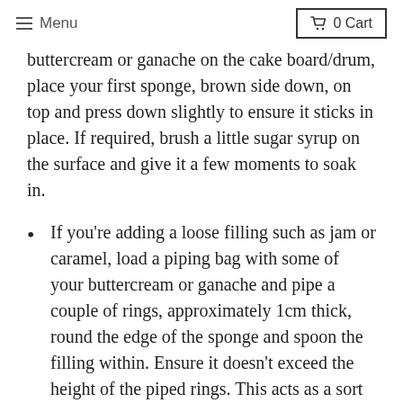Menu  |  0 Cart
buttercream or ganache on the cake board/drum, place your first sponge, brown side down, on top and press down slightly to ensure it sticks in place. If required, brush a little sugar syrup on the surface and give it a few moments to soak in.
If you're adding a loose filling such as jam or caramel, load a piping bag with some of your buttercream or ganache and pipe a couple of rings, approximately 1cm thick, round the edge of the sponge and spoon the filling within. Ensure it doesn't exceed the height of the piped rings. This acts as a sort of dam to hold the filling within. If you're not adding a runny filling, evenly spread the buttercream or